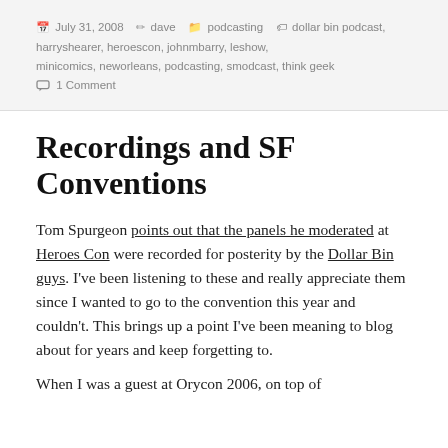July 31, 2008  dave  podcasting  dollar bin podcast, harryshearer, heroescon, johnmbarry, leshow, minicomics, neworleans, podcasting, smodcast, think geek  1 Comment
Recordings and SF Conventions
Tom Spurgeon points out that the panels he moderated at Heroes Con were recorded for posterity by the Dollar Bin guys. I've been listening to these and really appreciate them since I wanted to go to the convention this year and couldn't. This brings up a point I've been meaning to blog about for years and keep forgetting to.
When I was a guest at Orycon 2006, on top of